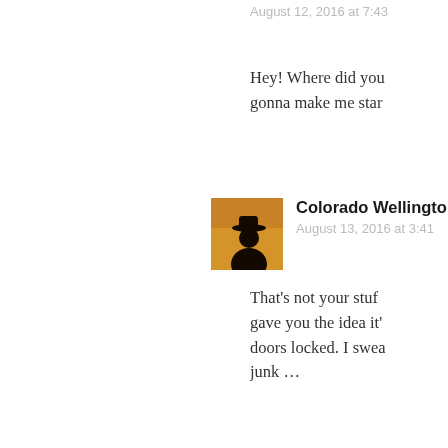August 12, 2016 at 7:43
Hey! Where did you gonna make me star
Colorado Wellington
August 13, 2016 at 3:41
That's not your stuff gave you the idea it' doors locked. I swea junk …
RAH says:
August 13, 2016 at 10:0
Should have recogn familiar except there toys for little girls o